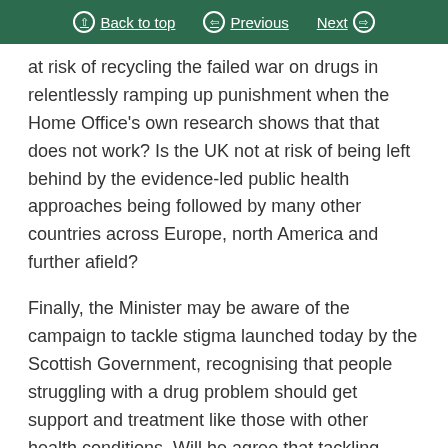Back to top | Previous | Next
at risk of recycling the failed war on drugs in relentlessly ramping up punishment when the Home Office's own research shows that that does not work? Is the UK not at risk of being left behind by the evidence-led public health approaches being followed by many other countries across Europe, north America and further afield?
Finally, the Minister may be aware of the campaign to tackle stigma launched today by the Scottish Government, recognising that people struggling with a drug problem should get support and treatment like those with other health conditions. Will he agree that tackling such stigma is vital in order to encourage people to seek the help that they need?